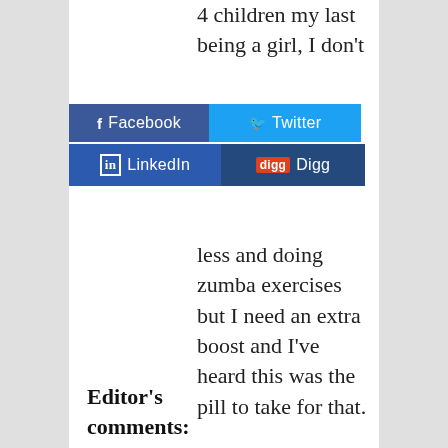4 children my last being a girl, I don't
[Figure (other): Social sharing buttons: Facebook, Twitter, LinkedIn, Digg]
less and doing zumba exercises but I need an extra boost and I've heard this was the pill to take for that.
Editor's comments: